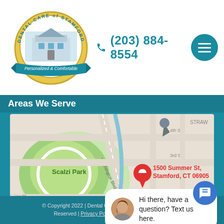[Figure (logo): Dental Care of Stamford circular logo with building illustration and banner reading Personalized & Comfortable]
(203) 884-8554
Areas We Serve
[Figure (map): Google Maps view showing Scalzi Park and pin at 1500 Summer St, Stamford, CT 06905 with close button]
Hi there, have a question? Text us here.
© Copyright 2022 | Dental Care of Stamford | All Reserved | Privacy Policy | Disclaimer